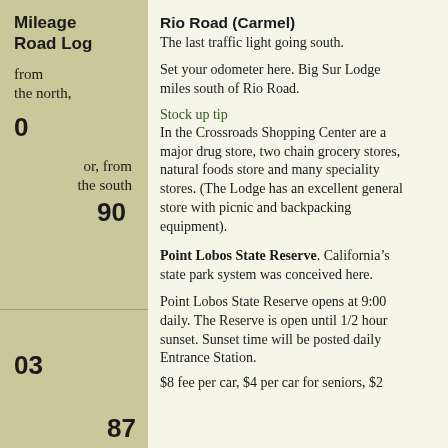Mileage Road Log
from the north,
0
or, from the south
90
Rio Road (Carmel)
The last traffic light going south.
Set your odometer here. Big Sur Lodge miles south of Rio Road.
Stock up tip
In the Crossroads Shopping Center are a major drug store, two chain grocery stores, natural foods store and many speciality stores. (The Lodge has an excellent general store with picnic and backpacking equipment).
03
Point Lobos State Reserve
. California's state park system was conceived here.
Point Lobos State Reserve opens at 9:00 daily. The Reserve is open until 1/2 hour sunset. Sunset time will be posted daily Entrance Station.
$8 fee per car, $4 per car for seniors, $2...
87